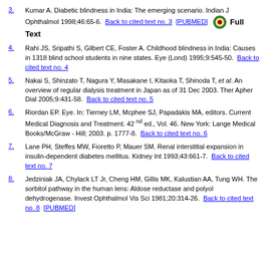3. Kumar A. Diabetic blindness in India: The emerging scenario. Indian J Ophthalmol 1998;46:65-6. Back to cited text no. 3 [PUBMED] Full Text
4. Rahi JS, Sripathi S, Gilbert CE, Foster A. Childhood blindness in India: Causes in 1318 blind school students in nine states. Eye (Lond) 1995;9:545-50. Back to cited text no. 4
5. Nakai S, Shinzato T, Nagura Y, Masakane I, Kitaoka T, Shinoda T, et al. An overview of regular dialysis treatment in Japan as of 31 Dec 2003. Ther Apher Dial 2005;9:431-58. Back to cited text no. 5
6. Riordan EP. Eye. In: Tierney LM, Mcphee SJ, Papadakis MA, editors. Current Medical Diagnosis and Treatment. 42nd ed., Vol. 46. New York: Lange Medical Books/McGraw - Hill; 2003. p. 1777-8. Back to cited text no. 6
7. Lane PH, Steffes MW, Fioretto P, Mauer SM. Renal interstitial expansion in insulin-dependent diabetes mellitus. Kidney Int 1993;43:661-7. Back to cited text no. 7
8. Jedziniak JA, Chylack LT Jr, Cheng HM, Gillis MK, Kalustian AA, Tung WH. The sorbitol pathway in the human lens: Aldose reductase and polyol dehydrogenase. Invest Ophthalmol Vis Sci 1981;20:314-26. Back to cited text no. 8 [PUBMED]